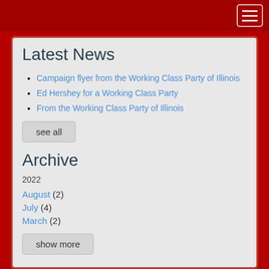Navigation menu header bar with hamburger menu button
Latest News
Campaign flyer from the Working Class Party of Illinois
Ed Hershey for a Working Class Party
From the Working Class Party of Illinois
see all
Archive
2022
August (2)
July (4)
March (2)
show more